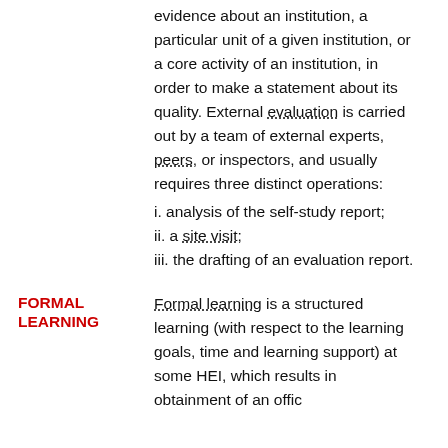evidence about an institution, a particular unit of a given institution, or a core activity of an institution, in order to make a statement about its quality. External evaluation is carried out by a team of external experts, peers, or inspectors, and usually requires three distinct operations:
i. analysis of the self-study report;
ii. a site visit;
iii. the drafting of an evaluation report.
FORMAL LEARNING
Formal learning is a structured learning (with respect to the learning goals, time and learning support) at some HEI, which results in obtainment of an offic...